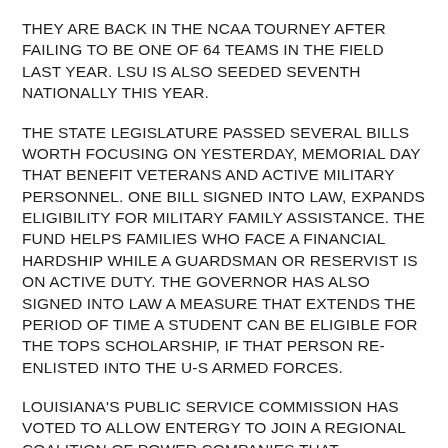THEY ARE BACK IN THE NCAA TOURNEY AFTER FAILING TO BE ONE OF 64 TEAMS IN THE FIELD LAST YEAR. LSU IS ALSO SEEDED SEVENTH NATIONALLY THIS YEAR.
THE STATE LEGISLATURE PASSED SEVERAL BILLS WORTH FOCUSING ON YESTERDAY, MEMORIAL DAY THAT BENEFIT VETERANS AND ACTIVE MILITARY PERSONNEL. ONE BILL SIGNED INTO LAW, EXPANDS ELIGIBILITY FOR MILITARY FAMILY ASSISTANCE. THE FUND HELPS FAMILIES WHO FACE A FINANCIAL HARDSHIP WHILE A GUARDSMAN OR RESERVIST IS ON ACTIVE DUTY. THE GOVERNOR HAS ALSO SIGNED INTO LAW A MEASURE THAT EXTENDS THE PERIOD OF TIME A STUDENT CAN BE ELIGIBLE FOR THE TOPS SCHOLARSHIP, IF THAT PERSON RE-ENLISTED INTO THE U-S ARMED FORCES.
LOUISIANA'S PUBLIC SERVICE COMMISSION HAS VOTED TO ALLOW ENTERGY TO JOIN A REGIONAL COALITION OF POWER COMPANIES THAT SUPPORTERS SAY WILL LEAD TO LOWER UTILITY COSTS FOR CUSTOMERS. PSC MEMBER LAMBERT